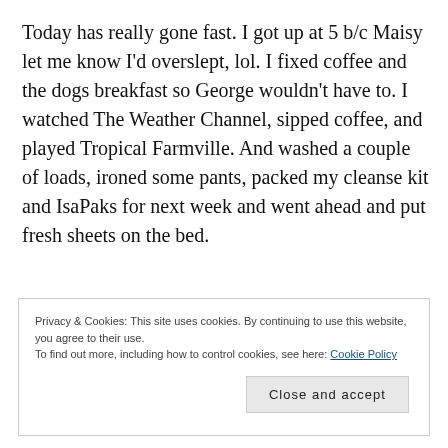Today has really gone fast. I got up at 5 b/c Maisy let me know I'd overslept, lol. I fixed coffee and the dogs breakfast so George wouldn't have to. I watched The Weather Channel, sipped coffee, and played Tropical Farmville. And washed a couple of loads, ironed some pants, packed my cleanse kit and IsaPaks for next week and went ahead and put fresh sheets on the bed.
Privacy & Cookies: This site uses cookies. By continuing to use this website, you agree to their use. To find out more, including how to control cookies, see here: Cookie Policy
Close and accept